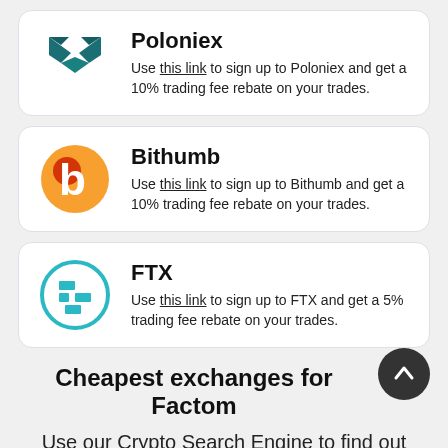[Figure (logo): Poloniex teal arrow logo]
Poloniex
Use this link to sign up to Poloniex and get a 10% trading fee rebate on your trades.
[Figure (logo): Bithumb orange 'b' logo]
Bithumb
Use this link to sign up to Bithumb and get a 10% trading fee rebate on your trades.
[Figure (logo): FTX teal circle logo with squares]
FTX
Use this link to sign up to FTX and get a 5% trading fee rebate on your trades.
Cheapest exchanges for Factom
Use our Crypto Search Engine to find out which are the cheapest sites to buy or exchange Factom